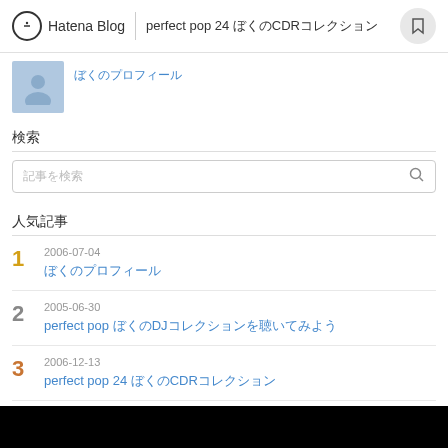Hatena Blog  perfect pop 24 ぼくのCDRコレクション
[Figure (photo): User profile avatar - grey silhouette placeholder]
ぼくのプロフィール
検索
記事を検索
人気記事
1  2006-07-04  ぼくのプロフィール
2  2005-06-30  perfect pop ぼくのDJコレクションを聴いてみよう
3  2006-12-13  perfect pop 24 ぼくのCDRコレクション